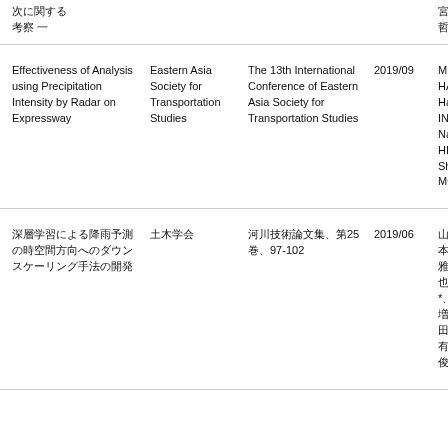| Title | Organization | Publication | Date | Authors |
| --- | --- | --- | --- | --- |
| 次に関する考察 一 |  |  |  | 宮哲 |
| Effectiveness of Analysis using Precipitation Intensity by Radar on Expressway | Eastern Asia Society for Transportation Studies | The 13th International Conference of Eastern Asia Society for Transportation Studies | 2019/09 | Mitsuhiro HATTORI*、Hajime INAMURA、Naohiko HIBINO、Shigeru MORICHI |
| 深層学習による降雨予測の時空間方向へのダウンスケーリング手法の開発 | 土木学会 | 河川技術論文集、第25巻、97-102 | 2019/06 | 山本雅也*、増田有俊* |